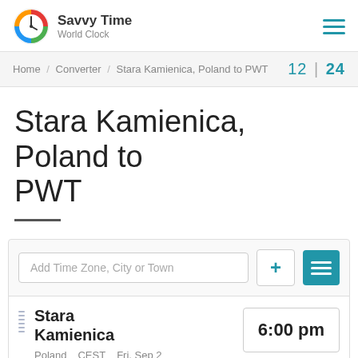Savvy Time World Clock
Home / Converter / Stara Kamienica, Poland to PWT    12 | 24
Stara Kamienica, Poland to PWT
Add Time Zone, City or Town
Stara Kamienica — 6:00 pm — Poland — CEST — Fri, Sep 2